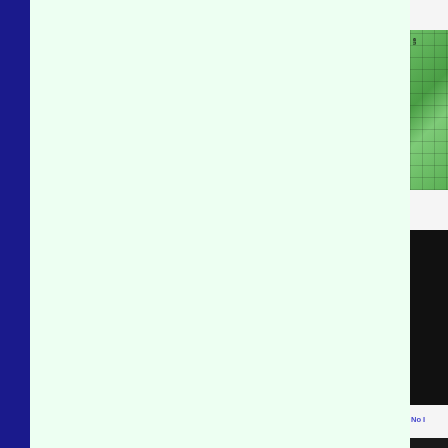[Figure (screenshot): Web page screenshot showing a left dark blue navigation bar, a large light green/mint main content area, and a right sidebar with partially visible book cover thumbnails and the text 'No I...' in blue]
No I
[Figure (illustration): Green grid-pattern book cover thumbnail in right sidebar]
[Figure (illustration): Black book cover thumbnail in right sidebar]
[Figure (illustration): Dark device/book cover with blue element in right sidebar]
[Figure (photo): Sky and field landscape book cover in right sidebar]
[Figure (illustration): Eco-themed book cover with orange and animal in right sidebar]